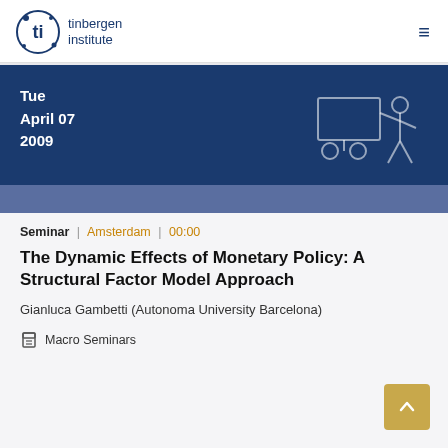tinbergen institute
[Figure (illustration): Tinbergen Institute logo: circular icon with stylized figures, beside text 'tinbergen institute']
Tue April 07 2009
[Figure (illustration): Decorative banner with dark blue background, presenter and screen icon in outline style]
Seminar | Amsterdam | 00:00
The Dynamic Effects of Monetary Policy: A Structural Factor Model Approach
Gianluca Gambetti (Autonoma University Barcelona)
Macro Seminars